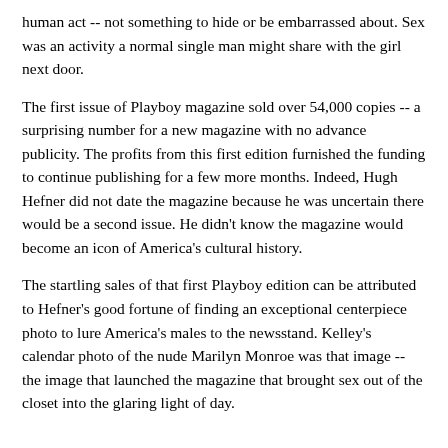human act -- not something to hide or be embarrassed about. Sex was an activity a normal single man might share with the girl next door.
The first issue of Playboy magazine sold over 54,000 copies -- a surprising number for a new magazine with no advance publicity. The profits from this first edition furnished the funding to continue publishing for a few more months. Indeed, Hugh Hefner did not date the magazine because he was uncertain there would be a second issue. He didn't know the magazine would become an icon of America's cultural history.
The startling sales of that first Playboy edition can be attributed to Hefner's good fortune of finding an exceptional centerpiece photo to lure America's males to the newsstand. Kelley's calendar photo of the nude Marilyn Monroe was that image -- the image that launched the magazine that brought sex out of the closet into the glaring light of day.